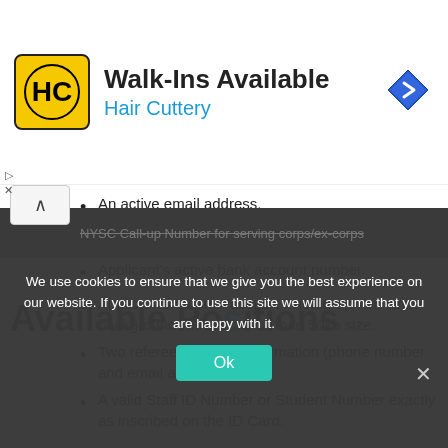[Figure (other): Hair Cuttery advertisement banner with yellow logo, 'Walk-Ins Available' heading, 'Hair Cuttery' subtitle in blue, and a blue diamond navigation arrow icon on the right]
An active email address.
Active phone number.
Applicant's active bank account number.
Applicant's recent Passport Photograph on white background with not more than 50kb size.
Two referees Contact information (phone number and email address).
A valid Staff ID Number or Student Number exactly as inscribed on the ID Card.
NYSC Call-up Number for serving corps/ex-corps
Available Positions
We use cookies to ensure that we give you the best experience on our website. If you continue to use this site we will assume that you are happy with it.